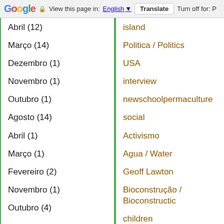Google  View this page in: English  Translate  Turn off for: P
Abril (12)
Março (14)
Dezembro (1)
Novembro (1)
Outubro (1)
Agosto (14)
Abril (1)
Março (1)
Fevereiro (2)
Novembro (1)
Outubro (4)
island
Politica / Politics
USA
interview
newschoolpermaculture
social
Activismo
Agua / Water
Geoff Lawton
Bioconstrução / Bioconstructic
children